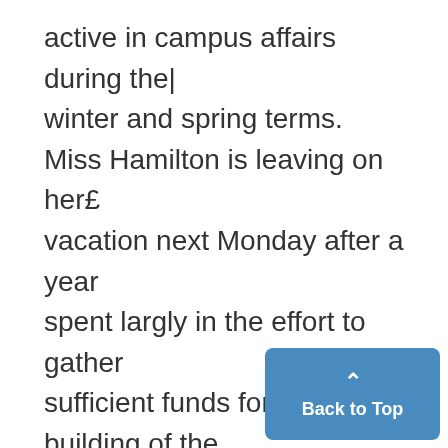active in campus affairs during the winter and spring terms. Miss Hamilton is leaving on her£ vacation next Monday after a year spent largly in the effort to gather sufficient funds for the building of the Michigan League. The structure is to be "for Michigan women everywhere", and will house all women's activities on the campus. Miss Helen C. Bishop is acting as dean during the summer session and Miss Hamilton's vacation. Other social events of the Leag
[Figure (other): Blue 'Back to Top' button with upward chevron arrow in bottom-right corner]